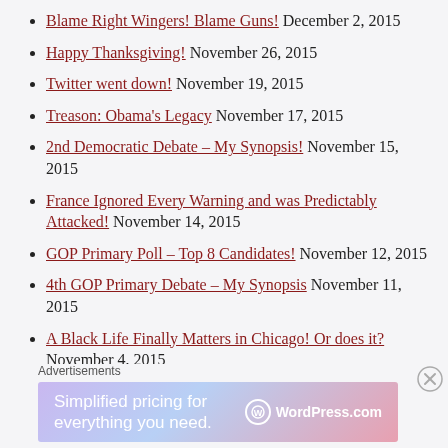Blame Right Wingers! Blame Guns! December 2, 2015
Happy Thanksgiving! November 26, 2015
Twitter went down! November 19, 2015
Treason: Obama's Legacy November 17, 2015
2nd Democratic Debate – My Synopsis! November 15, 2015
France Ignored Every Warning and was Predictably Attacked! November 14, 2015
GOP Primary Poll – Top 8 Candidates! November 12, 2015
4th GOP Primary Debate – My Synopsis November 11, 2015
A Black Life Finally Matters in Chicago! Or does it? November 4, 2015
Advertisements
[Figure (screenshot): WordPress.com advertisement banner: 'Simplified pricing for everything you need.' with WordPress.com logo on gradient background.]